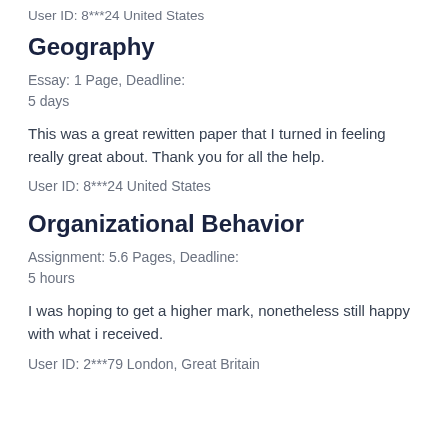User ID: 8***24 United States
Geography
Essay: 1 Page, Deadline:
5 days
This was a great rewitten paper that I turned in feeling really great about. Thank you for all the help.
User ID: 8***24 United States
Organizational Behavior
Assignment: 5.6 Pages, Deadline:
5 hours
I was hoping to get a higher mark, nonetheless still happy with what i received.
User ID: 2***79 London, Great Britain